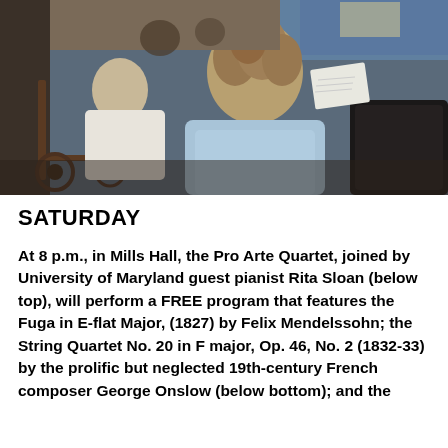[Figure (photo): A person in a wheelchair and another person with curly hair seated, viewed from behind, in what appears to be a concert hall or auditorium setting. The scene is dimly lit with blue curtains visible in the background.]
SATURDAY
At 8 p.m., in Mills Hall, the Pro Arte Quartet, joined by University of Maryland guest pianist Rita Sloan (below top), will perform a FREE program that features the Fuga in E-flat Major, (1827) by Felix Mendelssohn; the String Quartet No. 20 in F major, Op. 46, No. 2 (1832-33) by the prolific but neglected 19th-century French composer George Onslow (below bottom); and the